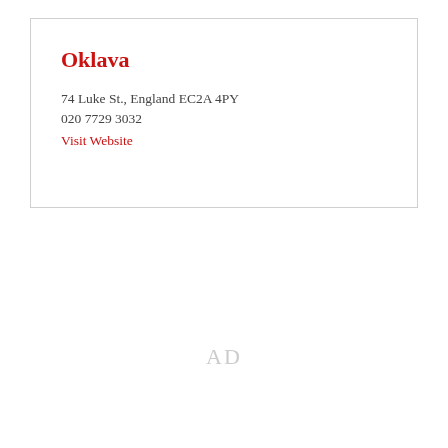Oklava
74 Luke St., England EC2A 4PY
020 7729 3032
Visit Website
AD